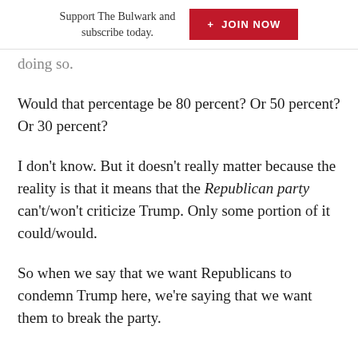Support The Bulwark and subscribe today.  + JOIN NOW
doing so.
Would that percentage be 80 percent? Or 50 percent? Or 30 percent?
I don't know. But it doesn't really matter because the reality is that it means that the Republican party can't/won't criticize Trump. Only some portion of it could/would.
So when we say that we want Republicans to condemn Trump here, we're saying that we want them to break the party.